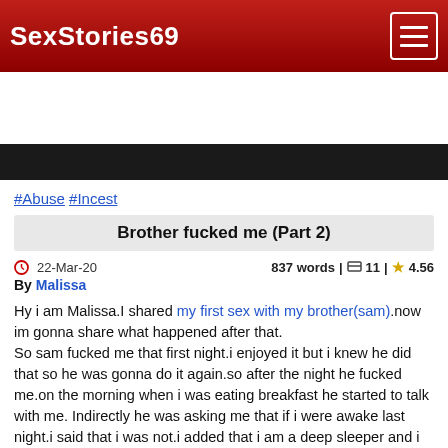SexStories69
[Figure (other): Dark advertisement banner area]
#Abuse #Incest
Brother fucked me (Part 2)
22-Mar-20   837 words | 11 | 4.56
By Malissa
Hy i am Malissa.I shared my first sex with my brother(sam).now im gonna share what happened after that.
So sam fucked me that first night.i enjoyed it but i knew he did that so he was gonna do it again.so after the night he fucked me.on the morning when i was eating breakfast he started to talk with me. Indirectly he was asking me that if i were awake last night.i said that i was not.i added that i am a deep sleeper and i dont know anything happens...